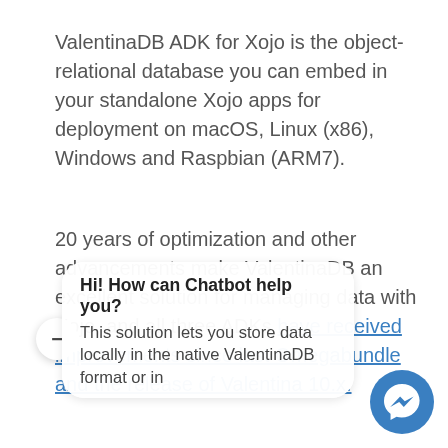ValentinaDB ADK for Xojo is the object-relational database you can embed in your standalone Xojo apps for deployment on macOS, Linux (x86), Windows and Raspbian (ARM7).
20 years of optimization and other advancements make ValentinaDB an excellent solution for managing data with Xojo, and all three ADKs have received improvements since last Omegabundle and the release of Valentina 10.x.
Hi! How can Chatbot help you? This solution lets you store data locally in the native ValentinaDB format or in